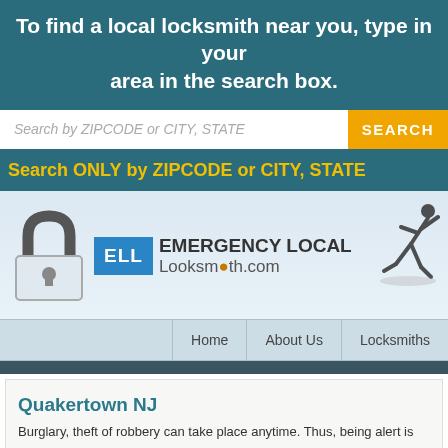To find a local locksmith near you, type in your area in the search box.
[Figure (screenshot): Search input box with placeholder 'Search by ZIPCODE or CITY, STATE' and orange SEARCH button]
Search ONLY by ZIPCODE or CITY, STATE
[Figure (logo): Emergency Local Locksmith.com logo with padlock icon, ELL blue box, brand name text, and running figure silhouette]
Home   About Us   Locksmiths
Quakertown NJ
Burglary, theft of robbery can take place anytime. Thus, being alert is